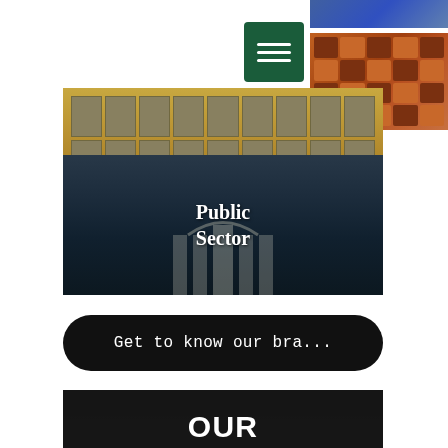[Figure (screenshot): Top portion of a website page showing a hamburger navigation menu (green square with three white lines), a partial orange/brown building facade on the right, and a yellow/tan multi-story building facade at the bottom of the top section.]
[Figure (photo): Banner image of a neoclassical government building with columns, photographed at dusk with bare trees visible. White text overlay reads 'Public Sector'.]
Public Sector
Get to know our bra...
OUR MISSION
Our aim is to strive towards the best standards of recruitment, using innovative technology and excellent